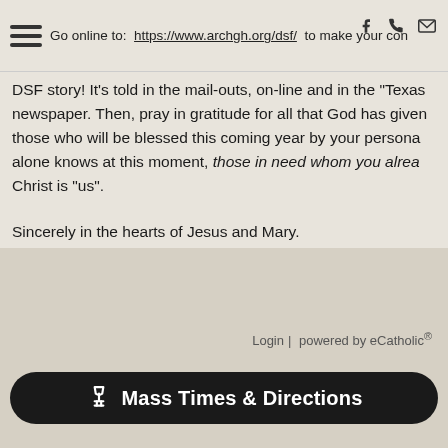Go online to: https://www.archgh.org/dsf/ to make your con
DSF story! It's told in the mail-outs, on-line and in the "Texas newspaper. Then, pray in gratitude for all that God has given those who will be blessed this coming year by your persona alone knows at this moment, those in need whom you alrea Christ is "us".
Sincerely in the hearts of Jesus and Mary.
Your pastor, Reverend Richard Barker.
+++
Login | powered by eCatholic®  Mass Times & Directions